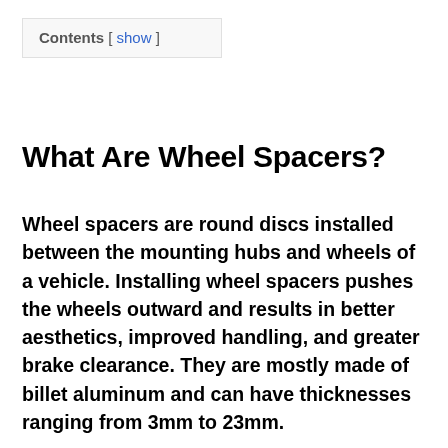Contents [ show ]
What Are Wheel Spacers?
Wheel spacers are round discs installed between the mounting hubs and wheels of a vehicle. Installing wheel spacers pushes the wheels outward and results in better aesthetics, improved handling, and greater brake clearance. They are mostly made of billet aluminum and can have thicknesses ranging from 3mm to 23mm.